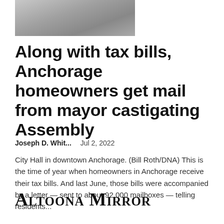[Figure (photo): Partial photo of a building, appears to be City Hall in downtown Anchorage, cropped at the bottom of the frame.]
Along with tax bills, Anchorage homeowners get mail from mayor castigating Assembly
Joseph D. Whit...    Jul 2, 2022
City Hall in downtown Anchorage. (Bill Roth/DNA) This is the time of year when homeowners in Anchorage receive their tax bills. And last June, those bills were accompanied by a letter — sent to about 92,000 mailboxes — telling residents...
[Figure (logo): Altoona Mirror newspaper logo in blackletter/Old English style font]